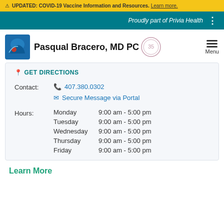⚠ UPDATED: COVID-19 Vaccine Information and Resources. Learn more.
Proudly part of Privia Health
Pasqual Bracero, MD PC
GET DIRECTIONS
Contact: 407.380.0302
Secure Message via Portal
Hours: Monday 9:00 am - 5:00 pm
Tuesday 9:00 am - 5:00 pm
Wednesday 9:00 am - 5:00 pm
Thursday 9:00 am - 5:00 pm
Friday 9:00 am - 5:00 pm
Learn More